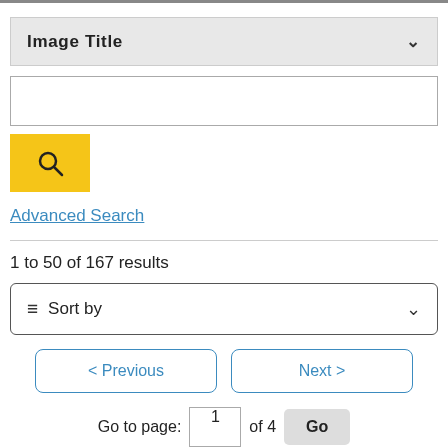[Figure (screenshot): Dropdown filter bar labeled 'Image Title' with chevron icon]
[Figure (screenshot): Search text input box]
[Figure (screenshot): Yellow search button with magnifying glass icon]
Advanced Search
1 to 50 of 167 results
[Figure (screenshot): Sort by dropdown bar with filter icon and chevron]
[Figure (screenshot): Pagination row with Previous and Next buttons]
[Figure (screenshot): Go to page row: input box showing 1, of 4, Go button]